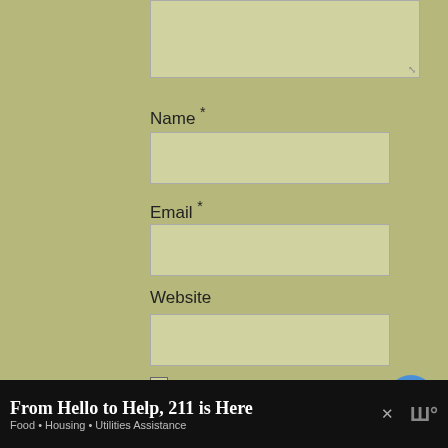[Figure (screenshot): A web comment form with Name, Email, Website fields, checkboxes for saving info and notify of comments, a Post Comment button, social sharing/like widgets, a 'What's Next' panel showing American Pelecinid, and a bottom ad bar for '211 is Here' service.]
Name *
Email *
Website
Save my name, email, and website in this browser for the next time I comment.
Notify me of followup comments via e-mail. You can also subscribe without commenting.
Post Comment
WHAT'S NEXT → American Pelecinid
From Hello to Help, 211 is Here
Food • Housing • Utilities Assistance